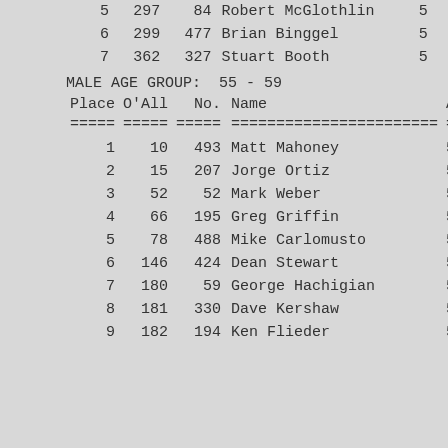| Place | O'All | No. | Name | Ag |
| --- | --- | --- | --- | --- |
| 5 | 297 | 84 | Robert McGlothlin | 5 |
| 6 | 299 | 477 | Brian Binggel | 5 |
| 7 | 362 | 327 | Stuart Booth | 5 |
MALE AGE GROUP:  55 - 59
| Place | O'All | No. | Name | Ag |
| --- | --- | --- | --- | --- |
| 1 | 10 | 493 | Matt Mahoney | 5 |
| 2 | 15 | 207 | Jorge Ortiz | 5 |
| 3 | 52 | 52 | Mark Weber | 5 |
| 4 | 66 | 195 | Greg Griffin | 5 |
| 5 | 78 | 488 | Mike Carlomusto | 5 |
| 6 | 146 | 424 | Dean Stewart | 5 |
| 7 | 180 | 59 | George Hachigian | 5 |
| 8 | 181 | 330 | Dave Kershaw | 5 |
| 9 | 182 | 194 | Ken Flieder | 5 |